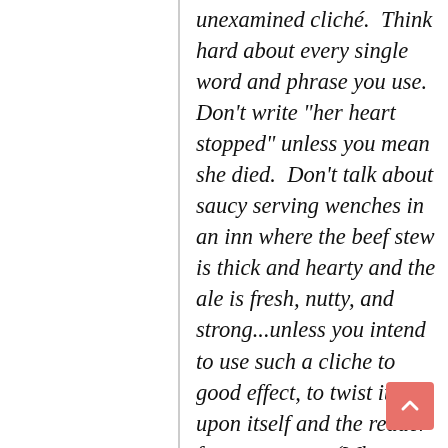…but writing is, in my opinion, the unexamined cliché. Think hard about every single word and phrase you use. Don't write "her heart stopped" unless you mean she died. Don't talk about saucy serving wenches in an inn where the beef stew is thick and hearty and the ale is fresh, nutty, and strong...unless you intend to use such a cliche to good effect, to twist it upon itself and the reader for a purpose. (Why aren't "serving wenches" ever tired, middle-aged women? Why, in worlds with no refrigeration, is the